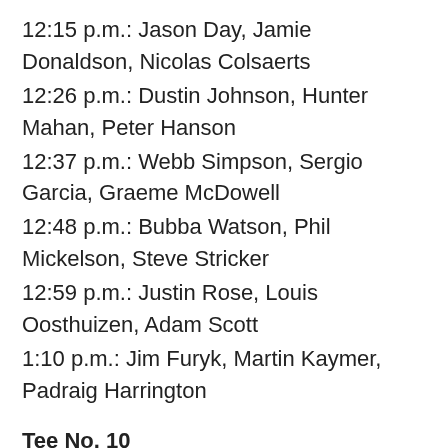12:15 p.m.: Jason Day, Jamie Donaldson, Nicolas Colsaerts
12:26 p.m.: Dustin Johnson, Hunter Mahan, Peter Hanson
12:37 p.m.: Webb Simpson, Sergio Garcia, Graeme McDowell
12:48 p.m.: Bubba Watson, Phil Mickelson, Steve Stricker
12:59 p.m.: Justin Rose, Louis Oosthuizen, Adam Scott
1:10 p.m.: Jim Furyk, Martin Kaymer, Padraig Harrington
Tee No. 10
11:20 a.m.: Rickie Fowler, Thorbjorn Olesen, Matteo Manassero
11:31 a.m.: Charl Schwartzel, Keegan Bradley, Jason Dufner